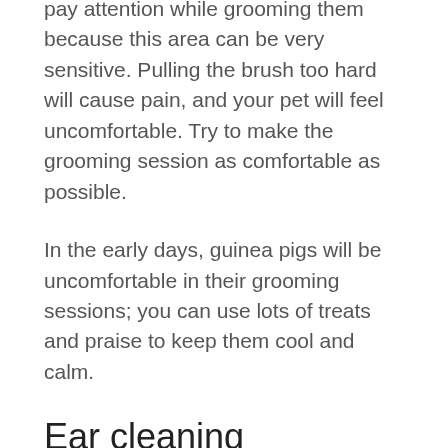pay attention while grooming them because this area can be very sensitive. Pulling the brush too hard will cause pain, and your pet will feel uncomfortable. Try to make the grooming session as comfortable as possible.
In the early days, guinea pigs will be uncomfortable in their grooming sessions; you can use lots of treats and praise to keep them cool and calm.
Ear cleaning
These fur ball ears are covered in hair that can get tangled. Similarly, earwax is a major problem that can build up in the ear and also stick to their